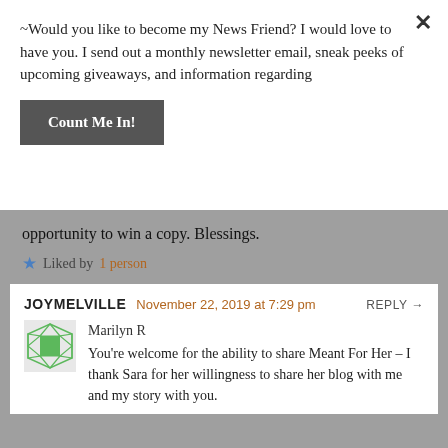~Would you like to become my News Friend? I would love to have you. I send out a monthly newsletter email, sneak peeks of upcoming giveaways, and information regarding
Count Me In!
opportunity to win a copy. Blessings.
Liked by 1 person
JOYMELVILLE  November 22, 2019 at 7:29 pm  REPLY →
Marilyn R
You're welcome for the ability to share Meant For Her – I thank Sara for her willingness to share her blog with me and my story with you.